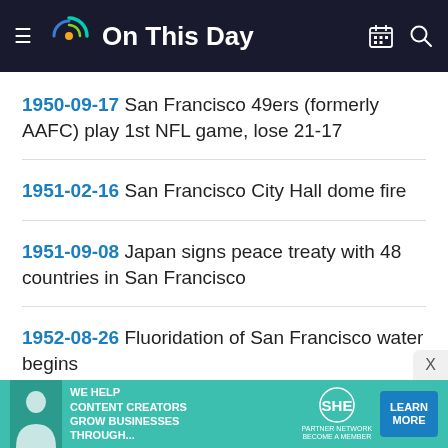On This Day
1950-09-17 San Francisco 49ers (formerly AAFC) play 1st NFL game, lose 21-17
1951-02-16 San Francisco City Hall dome fire
1951-09-08 Japan signs peace treaty with 48 countries in San Francisco
1952-08-26 Fluoridation of San Francisco water begins
1952-09-01 Sutro Baths, San Francisco purchased by George Whitney
[Figure (infographic): SHE Media Partner Network advertisement banner: 'We help content creators grow businesses through...' with Learn More button]